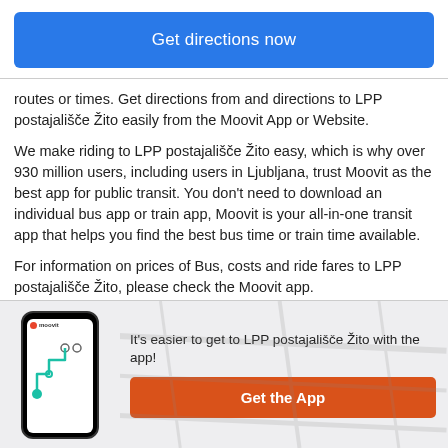[Figure (screenshot): Blue button labeled 'Get directions now']
routes or times. Get directions from and directions to LPP postajališče Žito easily from the Moovit App or Website.
We make riding to LPP postajališče Žito easy, which is why over 930 million users, including users in Ljubljana, trust Moovit as the best app for public transit. You don't need to download an individual bus app or train app, Moovit is your all-in-one transit app that helps you find the best bus time or train time available.
For information on prices of Bus, costs and ride fares to LPP postajališče Žito, please check the Moovit app.
[Figure (screenshot): Bottom banner with Moovit phone app illustration and 'Get the App' orange button]
It's easier to get to LPP postajališče Žito with the app!
[Figure (other): Get the App orange button]